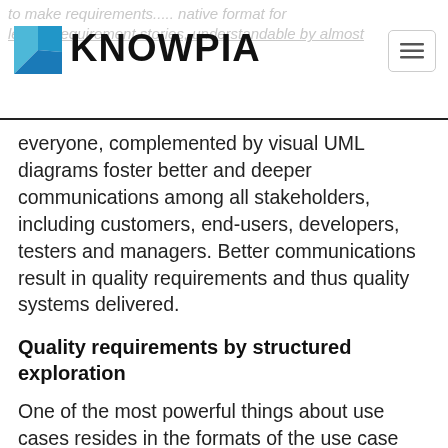KNOWPIA
everyone, complemented by visual UML diagrams foster better and deeper communications among all stakeholders, including customers, end-users, developers, testers and managers. Better communications result in quality requirements and thus quality systems delivered.
Quality requirements by structured exploration
One of the most powerful things about use cases resides in the formats of the use case templates, especially the main success scenario (basic flow) and the extension scenario fragments (extensions, exceptional and/or alternative flows). Analyzing a case step by step from preconditions to postconditions, exploring and investigating every